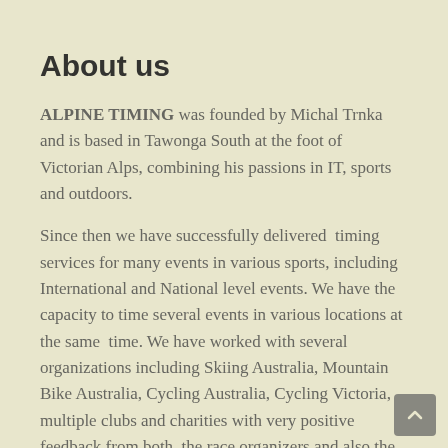About us
ALPINE TIMING was founded by Michal Trnka and is based in Tawonga South at the foot of Victorian Alps, combining his passions in IT, sports and outdoors.
Since then we have successfully delivered timing services for many events in various sports, including International and National level events. We have the capacity to time several events in various locations at the same time. We have worked with several organizations including Skiing Australia, Mountain Bike Australia, Cycling Australia, Cycling Victoria, multiple clubs and charities with very positive feedback from both, the race organizers and also the participants.
We provide high quality services which comply